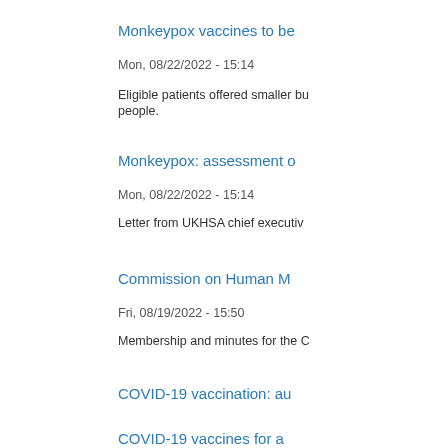Monkeypox vaccines to be...
Mon, 08/22/2022 - 15:14
Eligible patients offered smaller bu... people.
Monkeypox: assessment o...
Mon, 08/22/2022 - 15:14
Letter from UKHSA chief executiv...
Commission on Human M...
Fri, 08/19/2022 - 15:50
Membership and minutes for the C...
COVID-19 vaccination: au...
Thu, 08/18/2022 - 13:00
Information leaflet and sticker for...
COVID-19 vaccines for a...